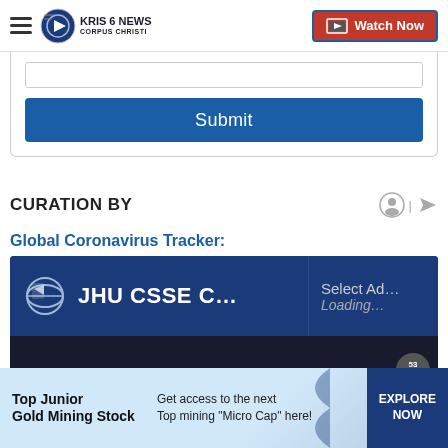KRIS 6 News Corpus Christi | Watch Now
[Figure (screenshot): Submit button inside a form card]
CURATION BY
Global Coronavirus Tracker:
[Figure (screenshot): JHU CSSE Coronavirus tracker widget with 'Select Ad... Loading...' dropdown on right]
[Figure (screenshot): Bottom advertisement banner: Top Junior Gold Mining Stock — Get access to the next Top mining 'Micro Cap' here! — EXPLORE NOW]